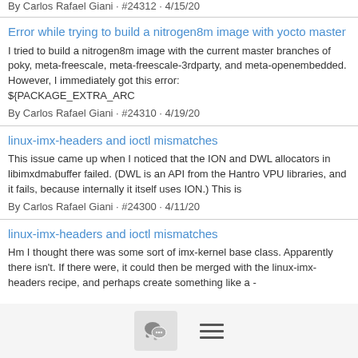By Carlos Rafael Giani · #24312 · 4/15/20
Error while trying to build a nitrogen8m image with yocto master
I tried to build a nitrogen8m image with the current master branches of poky, meta-freescale, meta-freescale-3rdparty, and meta-openembedded. However, I immediately got this error: ${PACKAGE_EXTRA_ARC
By Carlos Rafael Giani · #24310 · 4/19/20
linux-imx-headers and ioctl mismatches
This issue came up when I noticed that the ION and DWL allocators in libimxdmabuffer failed. (DWL is an API from the Hantro VPU libraries, and it fails, because internally it itself uses ION.) This is
By Carlos Rafael Giani · #24300 · 4/11/20
linux-imx-headers and ioctl mismatches
Hm I thought there was some sort of imx-kernel base class. Apparently there isn't. If there were, it could then be merged with the linux-imx-headers recipe, and perhaps create something like a -